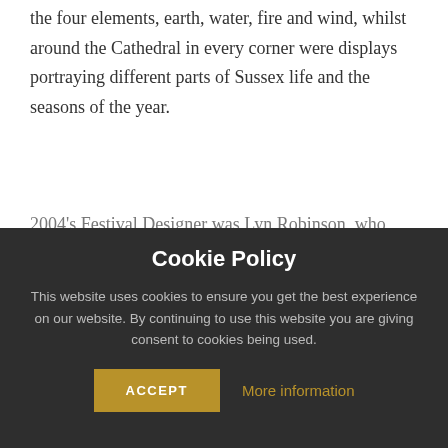the four elements, earth, water, fire and wind, whilst around the Cathedral in every corner were displays portraying different parts of Sussex life and the seasons of the year.
2004's Festival Designer was Lyn Robinson, who wanted to express the beautiful and varied rural surroundings of Sussex and the very first festival themes.
Cookie Policy
This website uses cookies to ensure you get the best experience on our website. By continuing to use this website you are giving consent to cookies being used.